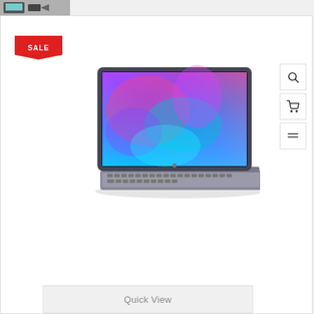[Figure (photo): Small thumbnail image of a tablet/laptop product in top-left corner]
[Figure (photo): Product listing card showing a 2-in-1 tablet with keyboard displaying colorful abstract wallpaper, with a SALE badge, search/cart/menu icons on the right, and a Quick View button at the bottom]